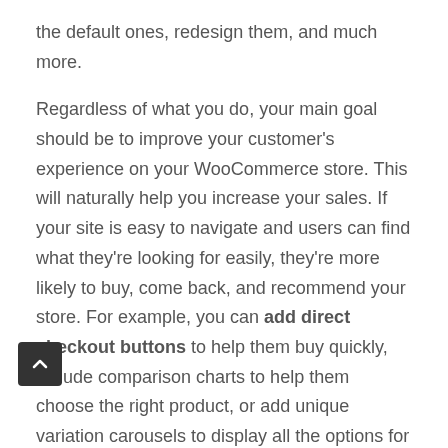the default ones, redesign them, and much more.
Regardless of what you do, your main goal should be to improve your customer's experience on your WooCommerce store. This will naturally help you increase your sales. If your site is easy to navigate and users can find what they're looking for easily, they're more likely to buy, come back, and recommend your store. For example, you can add direct checkout buttons to help them buy quickly, include comparison charts to help them choose the right product, or add unique variation carousels to display all the options for the single product's variations.
There are also nifty lead generation elements that you add to improve your product's sales by customizing your product page. This includes adding